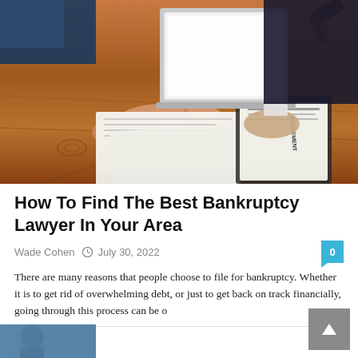[Figure (photo): Two people at a wooden desk reviewing legal documents, with a laptop, gavel, clipboard with papers, glasses, and a yellow pencil visible on the desk surface.]
How To Find The Best Bankruptcy Lawyer In Your Area
Wade Cohen  ⊙ July 30, 2022
There are many reasons that people choose to file for bankruptcy. Whether it is to get rid of overwhelming debt, or just to get back on track financially, going through this process can be o
[Figure (photo): Partial view of a person in a suit, bottom portion of a second article preview image.]